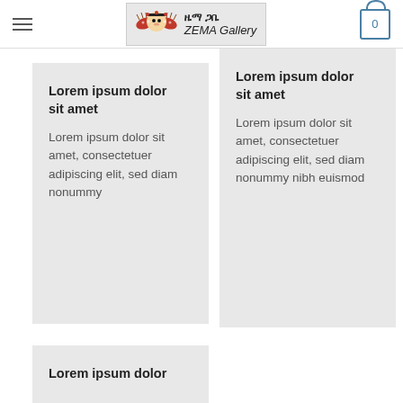ዜማ ጋቤ ZEMA Gallery
Lorem ipsum dolor sit amet

Lorem ipsum dolor sit amet, consectetuer adipiscing elit, sed diam nonummy
Lorem ipsum dolor sit amet

Lorem ipsum dolor sit amet, consectetuer adipiscing elit, sed diam nonummy nibh euismod
Lorem ipsum dolor